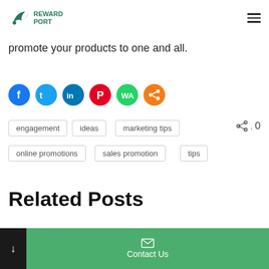RewardPort
promote your products to one and all.
[Figure (infographic): Social sharing icons row: Facebook (blue), Twitter (light blue), LinkedIn (dark blue), Pinterest (red), WhatsApp (green), Share (orange)]
engagement
ideas
marketing tips
online promotions
sales promotion
tips
Related Posts
Contact Us